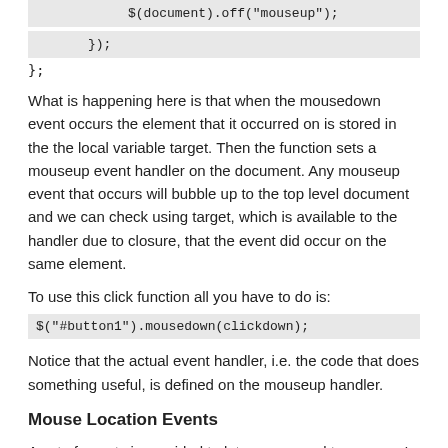$(document).off("mouseup");
});
};
What is happening here is that when the mousedown event occurs the element that it occurred on is stored in the the local variable target. Then the function sets a mouseup event handler on the document. Any mouseup event that occurs will bubble up to the top level document and we can check using target, which is available to the handler due to closure, that the event did occur on the same element.
To use this click function all you have to do is:
$("#button1").mousedown(clickdown);
Notice that the actual event handler, i.e. the code that does something useful, is defined on the mouseup handler.
Mouse Location Events
A set of events is provided to let you respond to a mouse's location. Notice that none of these events have good equivalent gestures on a mobile or touch device and hence they are best avoided.
mouseenter and mouseleave
Are triggered when the mouse pointer enters and leaves an element